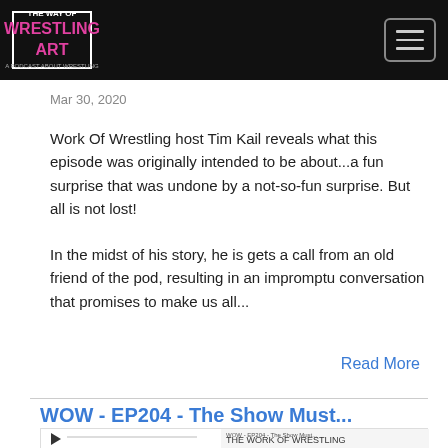Wrestling Art — A Podcast About Wrestling (navigation header)
Mar 30, 2020
Work Of Wrestling host Tim Kail reveals what this episode was originally intended to be about...a fun surprise that was undone by a not-so-fun surprise. But all is not lost!
In the midst of his story, he is gets a call from an old friend of the pod, resulting in an impromptu conversation that promises to make us all...
Read More
WOW - EP204 - The Show Must...
[Figure (screenshot): Podcast audio player widget for 'WOW - EP204 - The Show Must...' by THE WORK OF WRESTLING, showing play button, progress bar, and controls (00:00:00, RSS, download, embed, bell).]